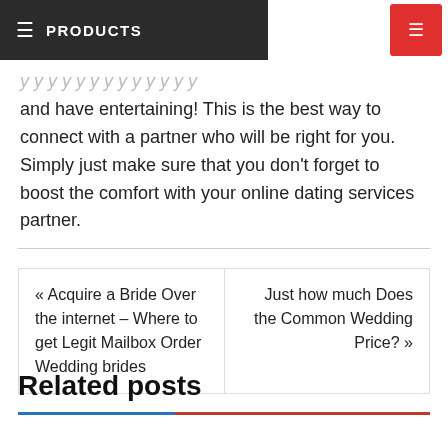≡ PRODUCTS
and have entertaining! This is the best way to connect with a partner who will be right for you. Simply just make sure that you don't forget to boost the comfort with your online dating services partner.
« Acquire a Bride Over the internet – Where to get Legit Mailbox Order Wedding brides
Just how much Does the Common Wedding Price? »
Related posts